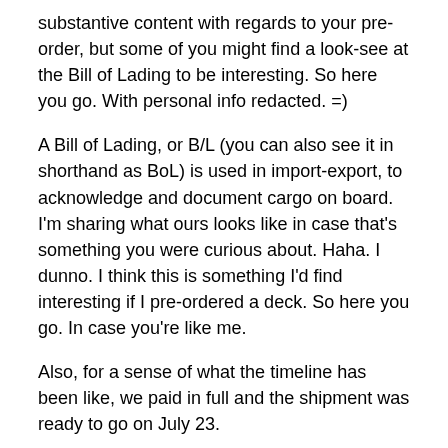substantive content with regards to your pre-order, but some of you might find a look-see at the Bill of Lading to be interesting. So here you go. With personal info redacted. =)
A Bill of Lading, or B/L (you can also see it in shorthand as BoL) is used in import-export, to acknowledge and document cargo on board. I'm sharing what ours looks like in case that's something you were curious about. Haha. I dunno. I think this is something I'd find interesting if I pre-ordered a deck. So here you go. In case you're like me.
Also, for a sense of what the timeline has been like, we paid in full and the shipment was ready to go on July 23.
We didn't receive the B/L that you see above for final confirmation until August 3.